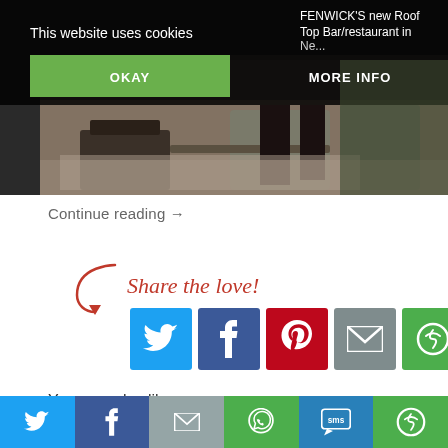[Figure (screenshot): Cookie consent banner overlay on top of a website showing 'This website uses cookies' with OKAY and MORE INFO buttons, over a background image of a lounge/waiting area with a person sitting in a chair]
[Figure (photo): Interior photo of a stylish lounge area with dark furniture, footstool, and a person sitting in a patterned armchair]
Continue reading →
Share the love!
[Figure (infographic): Row of social sharing buttons: Twitter (blue bird), Facebook (blue f), Pinterest (red P), Email (grey envelope), Share (green circular arrows)]
You may also like:
[Figure (infographic): Bottom share bar with six icons: Twitter, Facebook, Email, WhatsApp, SMS, and generic share button]